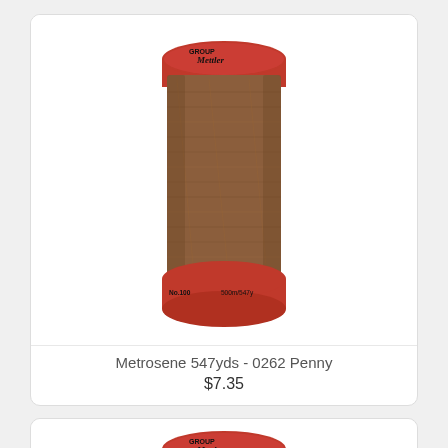[Figure (photo): A spool of Mettler Metrosene thread in brown/penny color (0262 Penny), with red top and bottom caps labeled 'GROUP Mettler' and 'No.100 500m/547yds'. The thread body is a warm brown color.]
Metrosene 547yds - 0262 Penny
$7.35
[Figure (photo): Partial view of a second spool of Mettler Metrosene thread in teal/dark green color, with a red top cap labeled 'GROUP Mettler'. Only the top portion of the spool is visible, cut off at the bottom of the page.]